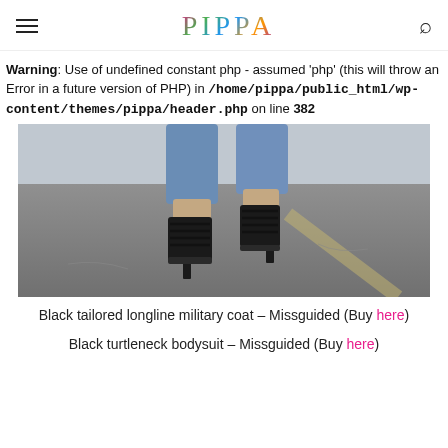PIPPA
Warning: Use of undefined constant php - assumed 'php' (this will throw an Error in a future version of PHP) in /home/pippa/public_html/wp-content/themes/pippa/header.php on line 382
[Figure (photo): Close-up photo of legs wearing blue jeans and black lace-up heeled sandals, walking on a grey asphalt street with yellow road markings visible in the background.]
Black tailored longline military coat – Missguided (Buy here)
Black turtleneck bodysuit – Missguided (Buy here)